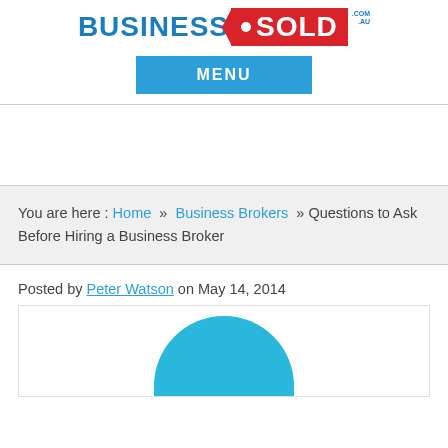[Figure (logo): BusinessSold.com.au logo with BUSINESS in blue and SOLD in white on red tag shape]
[Figure (other): Blue MENU navigation button]
You are here : Home » Business Brokers » Questions to Ask Before Hiring a Business Broker
Posted by Peter Watson on May 14, 2014
[Figure (photo): Article image showing top of a blue circular graphic/person head]